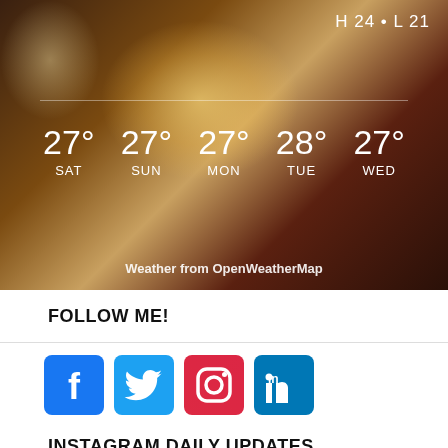[Figure (screenshot): Weather widget showing 5-day forecast: H24 • L21, with temperatures for SAT 27°, SUN 27°, MON 27°, TUE 28°, WED 27°. Attribution: Weather from OpenWeatherMap]
FOLLOW ME!
[Figure (illustration): Social media icons: Facebook (blue), Twitter (blue bird), Instagram (gradient pink/red), LinkedIn (blue)]
INSTAGRAM DAILY UPDATES
[Figure (screenshot): Instagram profile icon with username: thienlanw]